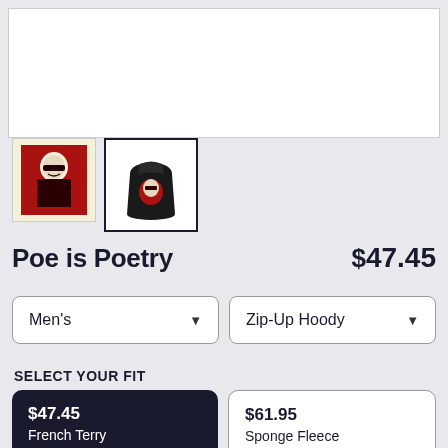[Figure (photo): White rectangular product image area (main image placeholder)]
[Figure (photo): Thumbnail 1: Red and cream colored graphic with a man's portrait (Poe design)]
[Figure (photo): Thumbnail 2 (selected): Black hoodie with red Poe graphic on back, selected/highlighted with dark border]
Poe is Poetry
$47.45
Men's
Zip-Up Hoody
SELECT YOUR FIT
$47.45
French Terry
$61.95
Sponge Fleece